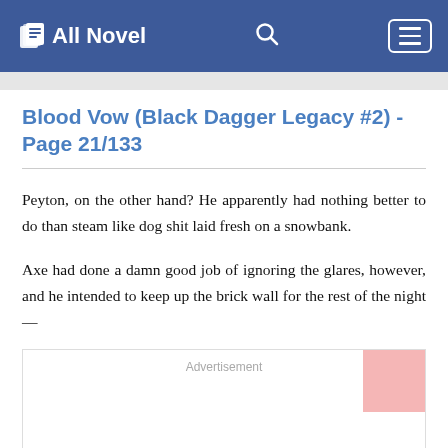All Novel
Blood Vow (Black Dagger Legacy #2) - Page 21/133
Peyton, on the other hand? He apparently had nothing better to do than steam like dog shit laid fresh on a snowbank.
Axe had done a damn good job of ignoring the glares, however, and he intended to keep up the brick wall for the rest of the night—
[Figure (other): Advertisement placeholder box with pink rectangle in top-right corner]